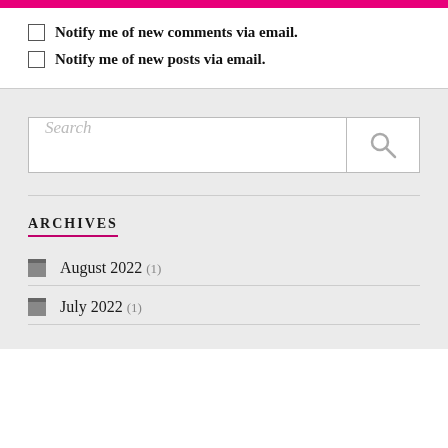Notify me of new comments via email.
Notify me of new posts via email.
Search
ARCHIVES
August 2022 (1)
July 2022 (1)